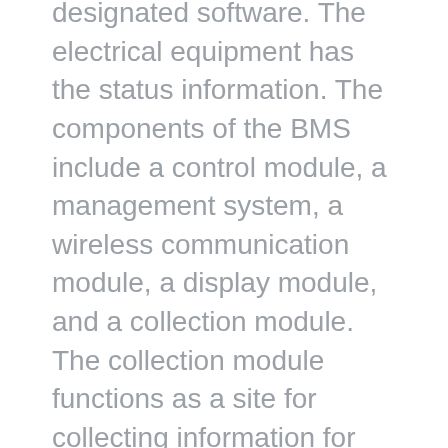designated software. The electrical equipment has the status information. The components of the BMS include a control module, a management system, a wireless communication module, a display module, and a collection module. The collection module functions as a site for collecting information for the battery.
The PCM and PCB are usually found in small battery packs, usually found in digital devices like power tool batteries, electric shavers, mobile phones, and the likes. On the other side, BMS is used in large battery cells like Drone batteries. In the case of a drone operator, they need to check the battery levels in real time. The battery needs to be able to support these types of data...